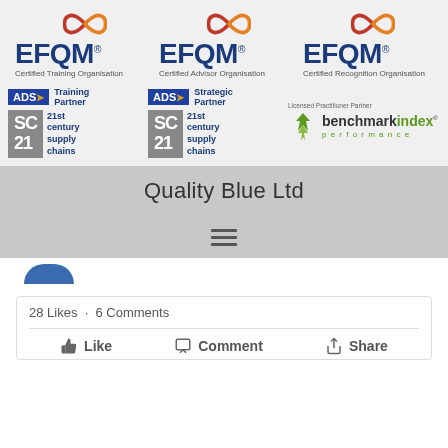[Figure (logo): EFQM Certified Training Organisation logo with infinity symbol in red/orange]
[Figure (logo): EFQM Certified Advisor Organisation logo with infinity symbol in red/orange]
[Figure (logo): EFQM Certified Recognition Organisation logo with infinity symbol in red/orange]
[Figure (logo): ADS Training Partner SC21 21st century supply chains logo]
[Figure (logo): ADS Strategic Partner SC21 21st century supply chains logo]
[Figure (logo): benchmarkindex performance Licensed Practitioner Partner logo]
Quality Blue Ltd
28 Likes · 6 Comments
Like   Comment   Share